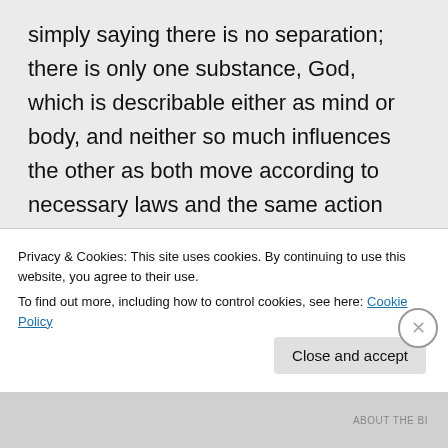simply saying there is no separation; there is only one substance, God, which is describable either as mind or body, and neither so much influences the other as both move according to necessary laws and the same action appears simultaneously as thought and event. Leibnitz solved the mind-body problem by saying that there are many substances, but
Privacy & Cookies: This site uses cookies. By continuing to use this website, you agree to their use.
To find out more, including how to control cookies, see here: Cookie Policy